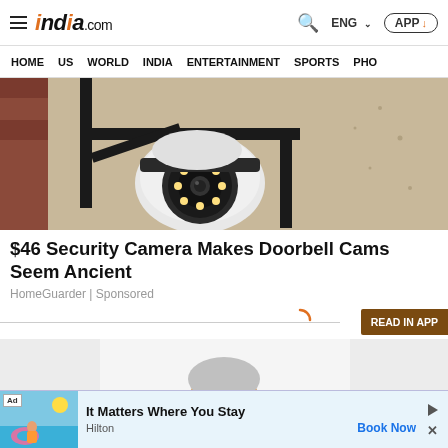india.com — HOME | US | WORLD | INDIA | ENTERTAINMENT | SPORTS | PHO
[Figure (photo): Security camera mounted on a wall bracket, white dome camera with LED ring, close-up photo]
$46 Security Camera Makes Doorbell Cams Seem Ancient
HomeGuarder | Sponsored
[Figure (photo): Partial image of an elderly man with glasses, bottom portion visible]
[Figure (photo): Bottom advertisement: Hilton — It Matters Where You Stay — Book Now]